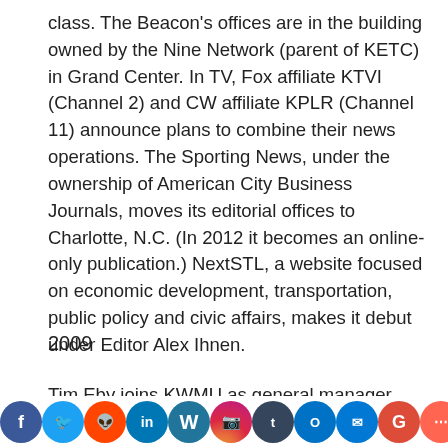class. The Beacon's offices are in the building owned by the Nine Network (parent of KETC) in Grand Center. In TV, Fox affiliate KTVI (Channel 2) and CW affiliate KPLR (Channel 11) announce plans to combine their news operations. The Sporting News, under the ownership of American City Business Journals, moves its editorial offices to Charlotte, N.C. (In 2012 it becomes an online-only publication.) NextSTL, a website focused on economic development, transportation, public policy and civic affairs, makes it debut under Editor Alex Ihnen.
2009
Tim Eby joins KWMU as general manager from public radio station WOSU in Ohio. He replaces Patty Wente, who was dismissed by UMSL administrators the previous
[Figure (other): Social media sharing icon bar at the bottom of the page showing icons for Facebook, Twitter, Reddit, LinkedIn, WordPress, Instagram, Tumblr, Outlook, Messenger, Google, and Share.]